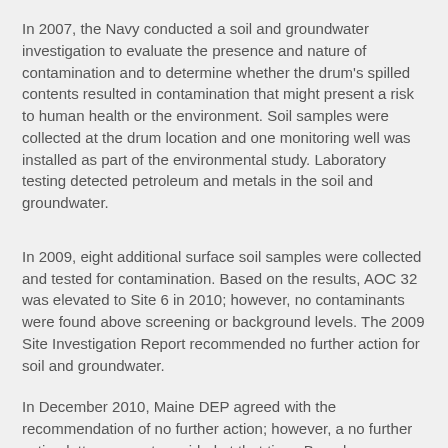In 2007, the Navy conducted a soil and groundwater investigation to evaluate the presence and nature of contamination and to determine whether the drum's spilled contents resulted in contamination that might present a risk to human health or the environment. Soil samples were collected at the drum location and one monitoring well was installed as part of the environmental study. Laboratory testing detected petroleum and metals in the soil and groundwater.
In 2009, eight additional surface soil samples were collected and tested for contamination. Based on the results, AOC 32 was elevated to Site 6 in 2010; however, no contaminants were found above screening or background levels. The 2009 Site Investigation Report recommended no further action for soil and groundwater.
In December 2010, Maine DEP agreed with the recommendation of no further action; however, a no further action letter was not provided at that time. Based on historical information that was provided in the Summary Memorandum